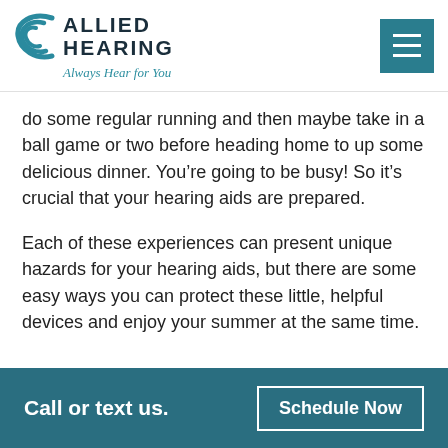[Figure (logo): Allied Hearing logo with teal wave/sound icon, bold text 'ALLIED HEARING' and italic tagline 'Always Hear for You']
[Figure (other): Teal hamburger menu button (three white horizontal lines on teal background)]
do some regular running and then maybe take in a ball game or two before heading home to up some delicious dinner. You’re going to be busy! So it’s crucial that your hearing aids are prepared.
Each of these experiences can present unique hazards for your hearing aids, but there are some easy ways you can protect these little, helpful devices and enjoy your summer at the same time.
Call or text us.    Schedule Now